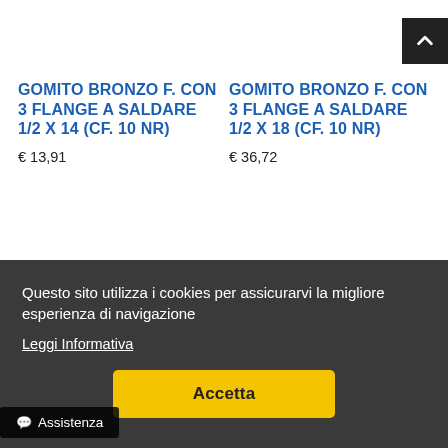[Figure (other): Scroll-to-top button: black square with white upward chevron arrow, top-right corner]
GOMITO BRONZO F. CON 3 FLANGE A SALDARE 1/2 x 14 (cf. 10 NR)
€ 13,91
GOMITO BRONZO F. CON 3 FLANGE A SALDARE 1/2 x 18 (cf. 10 NR)
€ 36,72
Questo sito utilizza i cookies per assicurarvi la migliore esperienza di navigazione
Leggi Informativa
Accetta
Assistenza